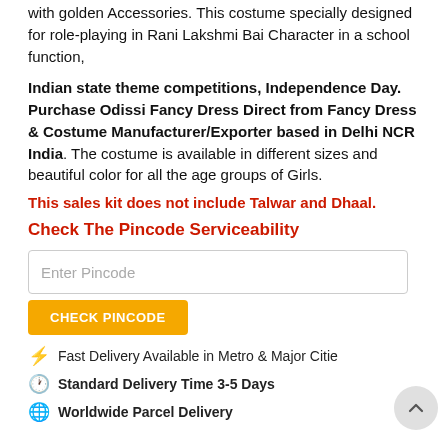with golden Accessories. This costume specially designed for role-playing in Rani Lakshmi Bai Character in a school function,
Indian state theme competitions, Independence Day. Purchase Odissi Fancy Dress Direct from Fancy Dress & Costume Manufacturer/Exporter based in Delhi NCR India. The costume is available in different sizes and beautiful color for all the age groups of Girls.
This sales kit does not include Talwar and Dhaal.
Check The Pincode Serviceability
Enter Pincode
CHECK PINCODE
Fast Delivery Available in Metro & Major Citie
Standard Delivery Time 3-5 Days
Worldwide Parcel Delivery